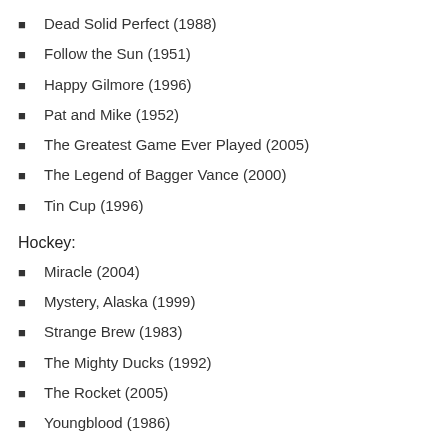Dead Solid Perfect (1988)
Follow the Sun (1951)
Happy Gilmore (1996)
Pat and Mike (1952)
The Greatest Game Ever Played (2005)
The Legend of Bagger Vance (2000)
Tin Cup (1996)
Hockey:
Miracle (2004)
Mystery, Alaska (1999)
Strange Brew (1983)
The Mighty Ducks (1992)
The Rocket (2005)
Youngblood (1986)